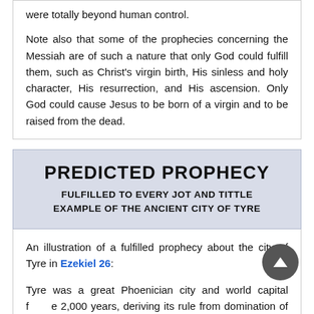were totally beyond human control.

Note also that some of the prophecies concerning the Messiah are of such a nature that only God could fulfill them, such as Christ's virgin birth, His sinless and holy character, His resurrection, and His ascension. Only God could cause Jesus to be born of a virgin and to be raised from the dead.
PREDICTED PROPHECY
FULFILLED TO EVERY JOT AND TITTLE
EXAMPLE OF THE ANCIENT CITY OF TYRE
An illustration of a fulfilled prophecy about the city of Tyre in Ezekiel 26:
Tyre was a great Phoenician city and world capital for some 2,000 years, deriving its rule from domination of the seas. Ezekiel 26 predicted Tyre's violent future and destruction at